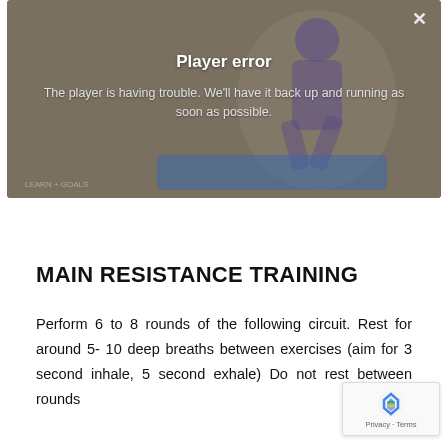[Figure (screenshot): Video player showing a person doing a fitness exercise, overlaid with a 'Player error' message. Background shows a blurred figure in athletic wear on a blue mat.]
Player error
The player is having trouble. We'll have it back up and running as soon as possible.
MAIN RESISTANCE TRAINING
Perform 6 to 8 rounds of the following circuit. Rest for around 5- 10 deep breaths between exercises (aim for 3 second inhale, 5 second exhale) Do not rest between rounds